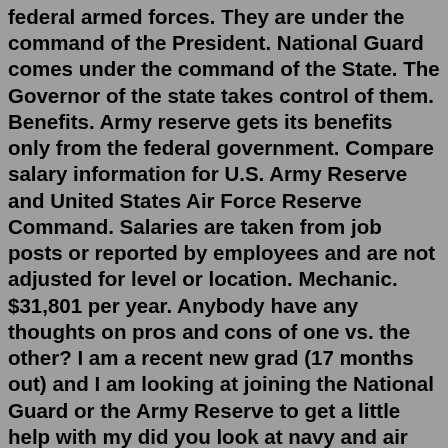federal armed forces. They are under the command of the President. National Guard comes under the command of the State. The Governor of the state takes control of them. Benefits. Army reserve gets its benefits only from the federal government. Compare salary information for U.S. Army Reserve and United States Air Force Reserve Command. Salaries are taken from job posts or reported by employees and are not adjusted for level or location. Mechanic. $31,801 per year. Anybody have any thoughts on pros and cons of one vs. the other? I am a recent new grad (17 months out) and I am looking at joining the National Guard or the Army Reserve to get a little help with my did you look at navy and air force? also the public health service is starting a ready reserve unit.Officer Training School (OTS), Air Force Reserves, and Air National Guard Officer Training School (OTS), Air Force Reserves, and Air National Guard If AFROTC is not a suitable program for you but you wish to still serve as an Officer, check the links below for alternate Air Force Officership...